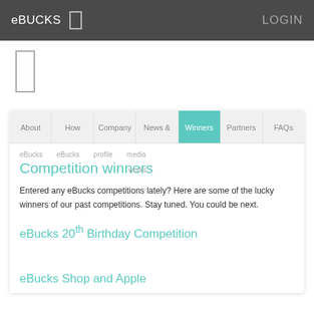eBUCKS  LOGIN
[Figure (other): Small rectangular icon/menu box below the top navigation bar]
[Figure (screenshot): Navigation menu tabs: About, How, Company, News &, Winners (active/highlighted), Partners, FAQs]
eBucks  eBucks  profile  media  works
Competition winners
Entered any eBucks competitions lately? Here are some of the lucky winners of our past competitions. Stay tuned. You could be next.
eBucks 20th Birthday Competition
eBucks Shop and Apple